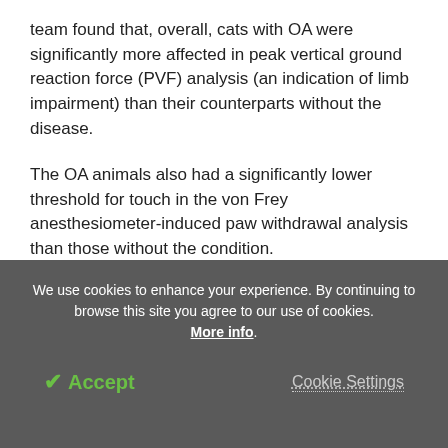team found that, overall, cats with OA were significantly more affected in peak vertical ground reaction force (PVF) analysis (an indication of limb impairment) than their counterparts without the disease.
The OA animals also had a significantly lower threshold for touch in the von Frey anesthesiometer-induced paw withdrawal analysis than those without the condition.
We use cookies to enhance your experience. By continuing to browse this site you agree to our use of cookies. More info.